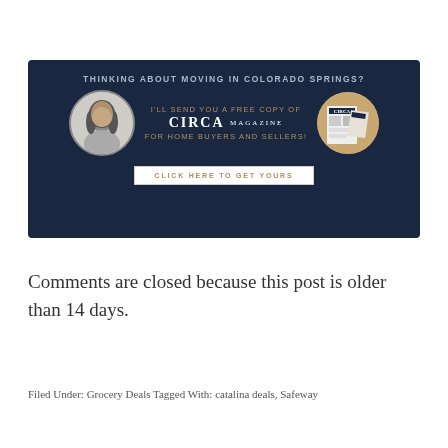[Figure (infographic): Dark navy blue promotional banner for CIRCA magazine. Shows a woman's circular portrait on the left, centered text reading 'THINKING ABOUT MOVING IN COLORADO SPRINGS? I'LL SEND YOU A FREE COPY OF CIRCA MAGAZINE FOR HOME BUYERS AND SELLERS!' with a 'CLICK HERE TO GET YOURS' button, and a circular magazine image on the right.]
Comments are closed because this post is older than 14 days.
Filed Under: Grocery Deals Tagged With: catalina deals, Safeway